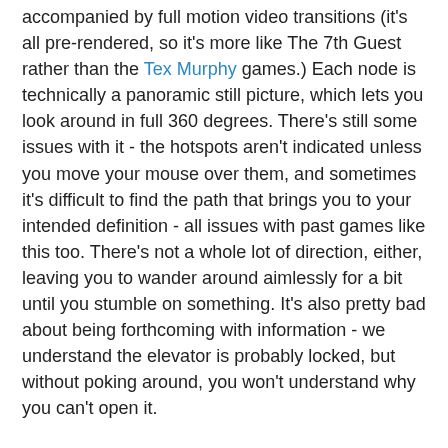accompanied by full motion video transitions (it's all pre-rendered, so it's more like The 7th Guest rather than the Tex Murphy games.) Each node is technically a panoramic still picture, which lets you look around in full 360 degrees. There's still some issues with it - the hotspots aren't indicated unless you move your mouse over them, and sometimes it's difficult to find the path that brings you to your intended definition - all issues with past games like this too. There's not a whole lot of direction, either, leaving you to wander around aimlessly for a bit until you stumble on something. It's also pretty bad about being forthcoming with information - we understand the elevator is probably locked, but without poking around, you won't understand why you can't open it.
The concept is, you are one of four people in hypersleep aboard a space station that's mysteriously deserted - a common trope. The second is a beautiful woman who's still asleep. The third appears to be have gone missing (Trace Beaulieu's character), and the fourth (TV's Frank!) seems to be dead. (It isn't him, obviously.) The opening segments are unfortunately missing any FMV outside of the shots of